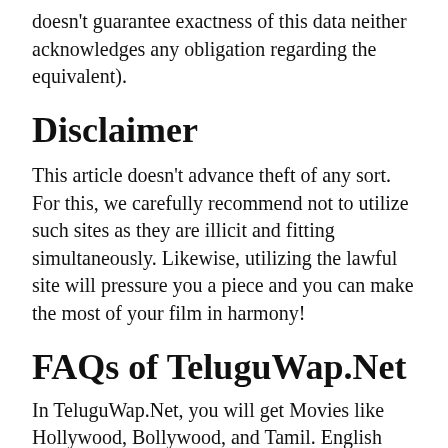doesn't guarantee exactness of this data neither acknowledges any obligation regarding the equivalent).
Disclaimer
This article doesn't advance theft of any sort. For this, we carefully recommend not to utilize such sites as they are illicit and fitting simultaneously. Likewise, utilizing the lawful site will pressure you a piece and you can make the most of your film in harmony!
FAQs of TeluguWap.Net
In TeluguWap.Net, you will get Movies like Hollywood, Bollywood, and Tamil. English motion pictures are likewise accessible in the Tamil Language.